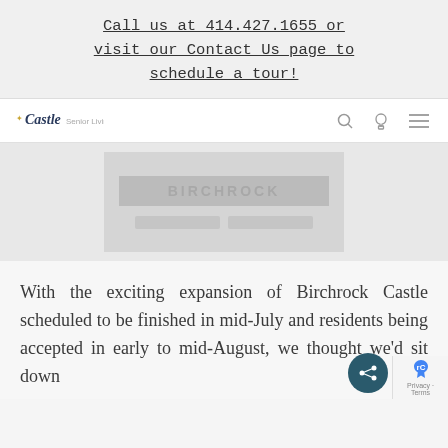Call us at 414.427.1655 or visit our Contact Us page to schedule a tour!
[Figure (screenshot): Castle Senior Living navigation bar with logo, search icon, account icon, and hamburger menu icon]
[Figure (screenshot): Blurred hero image placeholder with gray rectangle and text content area]
With the exciting expansion of Birchrock Castle scheduled to be finished in mid-July and residents being accepted in early to mid-August, we thought we'd sit down